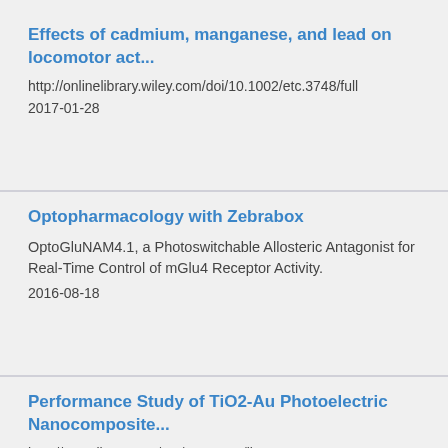Effects of cadmium, manganese, and lead on locomotor act...
http://onlinelibrary.wiley.com/doi/10.1002/etc.3748/full
2017-01-28
Optopharmacology with Zebrabox
OptoGluNAM4.1, a Photoswitchable Allosteric Antagonist for Real-Time Control of mGlu4 Receptor Activity.
2016-08-18
Performance Study of TiO2-Au Photoelectric Nanocomposite...
http://www.jim.org.cn/EN/10.15541/jim20160158